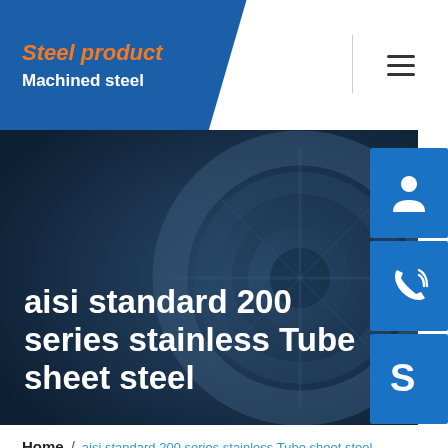Steel product / Machined steel
aisi standard 200 series stainless Tube sheet steel
[Figure (screenshot): Website screenshot showing a steel product page header with logo 'Steel product / Machined steel' on a blue banner, a hero image of steel tubing with site title overlay, and three blue sidebar icon buttons (headset/customer service, phone, Skype).]
Home / aisi standard 200 series stainless Tube sheet steel